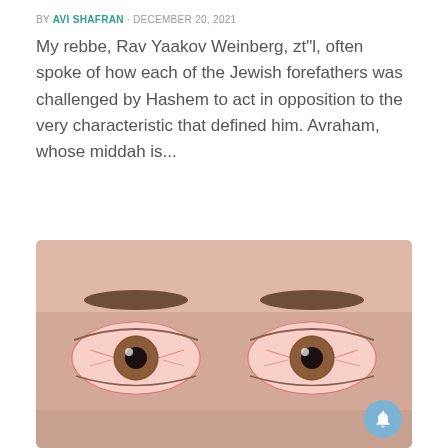BY AVI SHAFRAN · DECEMBER 20, 2021
My rebbe, Rav Yaakov Weinberg, zt"l, often spoke of how each of the Jewish forefathers was challenged by Hashem to act in opposition to the very characteristic that defined him. Avraham, whose middah is...
[Figure (photo): Close-up photograph of a person's face showing two bloodshot, red-veined eyes with brown irises, dark eyebrows visible above, skin tone is light/fair.]